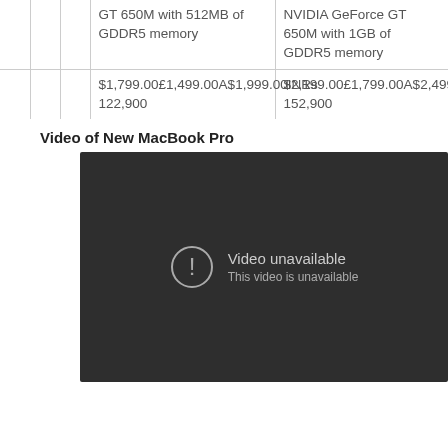|  |  |  | Col1 | Col2 |
| --- | --- | --- | --- | --- |
|  |  |  | GT 650M with 512MB of GDDR5 memory | NVIDIA GeForce GT 650M with 1GB of GDDR5 memory |
|  |  |  | $1,799.00£1,499.00A$1,999.00INRs 122,900 | $2,199.00£1,799.00A$2,499.00INRs 152,900 |
Video of New MacBook Pro
[Figure (screenshot): Embedded video player showing 'Video unavailable - This video is unavailable' message on a dark background]